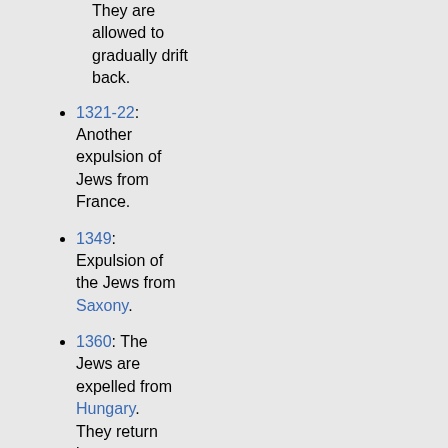They are allowed to gradually drift back.
1321-22: Another expulsion of Jews from France.
1349: Expulsion of the Jews from Saxony.
1360: The Jews are expelled from Hungary. They return later.
1370: Jews are expelled from the Duchy of Flanders.
1394: Final expulsion of Jews from France.